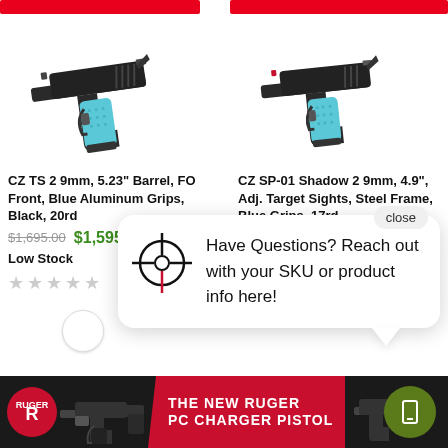[Figure (photo): CZ TS 2 9mm pistol with blue aluminum grips on white background]
CZ TS 2 9mm, 5.23" Barrel, FO Front, Blue Aluminum Grips, Black, 20rd
$1,695.00  $1,595.58
Low Stock
[Figure (photo): CZ SP-01 Shadow 2 9mm pistol with blue grips on white background]
CZ SP-01 Shadow 2 9mm, 4.9", Adj. Target Sights, Steel Frame, Blue Grips, 17rd
$1,455.00  $1,368.36
Low Stock
close
Have Questions? Reach out with your SKU or product info here!
[Figure (photo): Bottom banner: Ruger logo, PC Charger pistol image, red banner text THE NEW RUGER PC CHARGER PISTOL, phone/tablet icon in green circle]